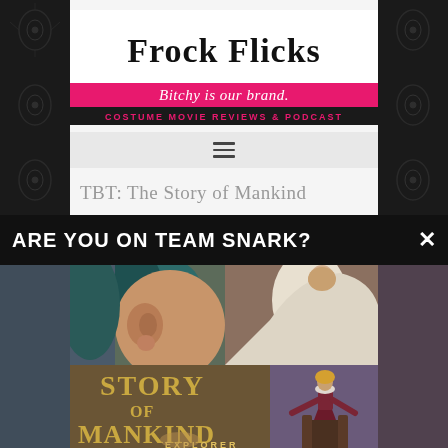[Figure (logo): Frock Flicks logo banner. Top half white background with serif bold text 'Frock Flicks'. Middle bar hot pink with italic white script text 'Bitchy is our brand.' Bottom bar black with pink bold uppercase text 'COSTUME MOVIE REVIEWS & PODCAST']
[Figure (other): Hamburger/navigation menu icon with three horizontal lines]
TBT: The Story of Mankind
ARE YOU ON TEAM SNARK?
[Figure (photo): A collage of film stills and a movie poster for 'The Story of Mankind'. Left portion shows a close-up of a person's face/ear with teal hair. Right portion shows a person in a white draped costume leaning back. Bottom portion shows the movie poster text 'STORY OF MANKIND' in golden/brown illustrated letters, with a figure in an Elizabethan gown on the right side and text 'EXPLORER' partially visible at the bottom.]